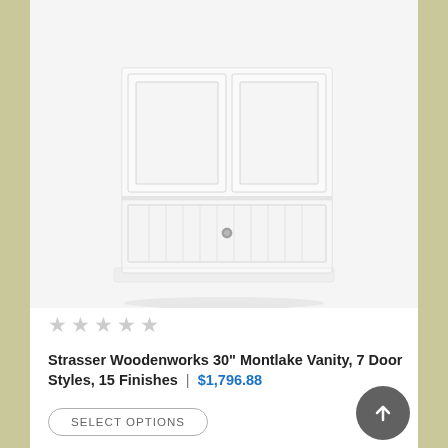[Figure (photo): White bathroom vanity cabinet with two doors on top and a drawer below, shown against white background]
★ ★ ★ ★ ★ (empty stars rating)
Strasser Woodenworks 30" Montlake Vanity, 7 Door Styles, 15 Finishes | $1,796.88
SELECT OPTIONS
[Figure (photo): Bathroom vanity with dark granite countertop, undermount sink, and dark faucet, sitting on a light maple wood cabinet base]